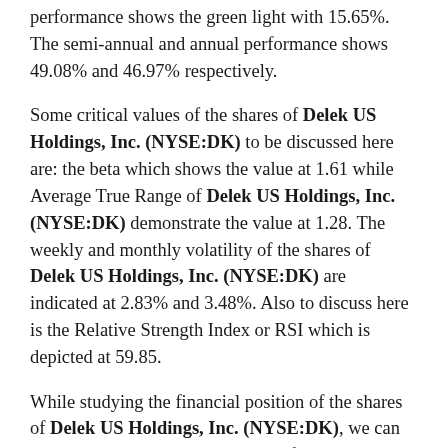performance shows the green light with 15.65%. The semi-annual and annual performance shows 49.08% and 46.97% respectively.
Some critical values of the shares of Delek US Holdings, Inc. (NYSE:DK) to be discussed here are: the beta which shows the value at 1.61 while Average True Range of Delek US Holdings, Inc. (NYSE:DK) demonstrate the value at 1.28. The weekly and monthly volatility of the shares of Delek US Holdings, Inc. (NYSE:DK) are indicated at 2.83% and 3.48%. Also to discuss here is the Relative Strength Index or RSI which is depicted at 59.85.
While studying the financial position of the shares of Delek US Holdings, Inc. (NYSE:DK), we can see that the Market capitalization of the company is at 3 Billion. The shares outstanding for the company is